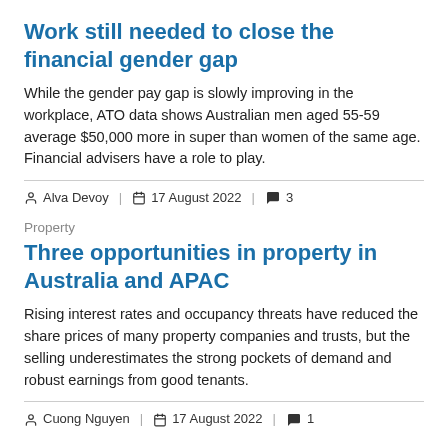Work still needed to close the financial gender gap
While the gender pay gap is slowly improving in the workplace, ATO data shows Australian men aged 55-59 average $50,000 more in super than women of the same age. Financial advisers have a role to play.
Alva Devoy | 17 August 2022 | 3
Property
Three opportunities in property in Australia and APAC
Rising interest rates and occupancy threats have reduced the share prices of many property companies and trusts, but the selling underestimates the strong pockets of demand and robust earnings from good tenants.
Cuong Nguyen | 17 August 2022 | 1